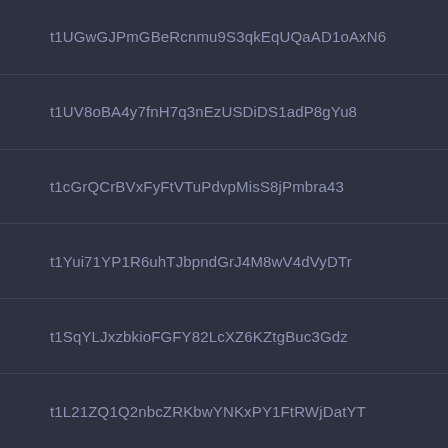t1UGwGJPmGBeRcnmu9S3qkEqUQaAD1oAxN6
t1UV8oBA4y7fnH7q3nEzUSDiDS1adP8gYu8
t1cGrQCrBVxFyFtVTuPdvpMisS8jPmbra43
t1Yui71YP1R6uhTJbpndGrJ4M8wV4dVyDTr
t1SqYLJxzbkioFGFY82LcXZ6KZtgBuc3Gdz
t1L21ZQ1Q2nbcZRKbwYNKxPY1FtRWjDatYT